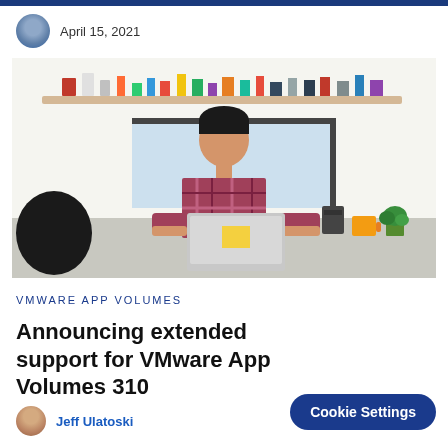April 15, 2021
[Figure (photo): A man in a plaid shirt working on a laptop at a kitchen counter. Shelves with colorful decorative items visible in the background.]
VMware App Volumes
Announcing extended support for VMware App Volumes 310
Jeff Ulatoski